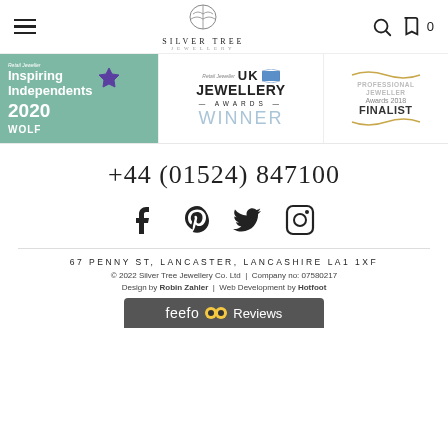[Figure (logo): Silver Tree Jewellery logo with tree icon and text]
[Figure (photo): Three award badges: Retail Jeweller Inspiring Independents 2020 (Wolf), UK Jewellery Awards Winner, Professional Jeweller Awards 2018 Finalist]
+44 (01524) 847100
[Figure (infographic): Social media icons: Facebook, Pinterest, Twitter, Instagram]
67 PENNY ST, LANCASTER, LANCASHIRE LA1 1XF
© 2022 Silver Tree Jewellery Co. Ltd  |  Company no: 07580217
Design by Robin Zahler  |  Web Development by Hotfoot
[Figure (logo): Feefo Reviews badge in dark grey bar]